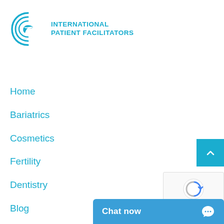[Figure (logo): International Patient Facilitators logo — circular arc with bird silhouette in teal/cyan color, with text INTERNATIONAL PATIENT FACILITATORS beside it]
Home
Bariatrics
Cosmetics
Fertility
Dentistry
Blog
Others